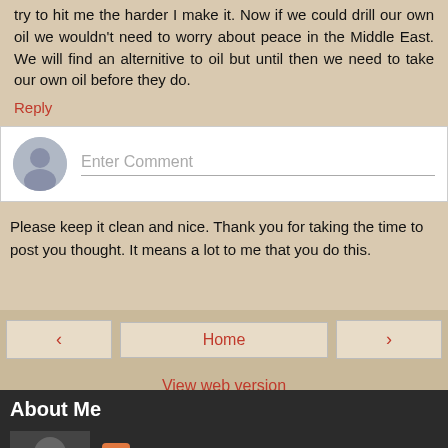try to hit me the harder I make it. Now if we could drill our own oil we wouldn't need to worry about peace in the Middle East. We will find an alternitive to oil but until then we need to take our own oil before they do.
Reply
[Figure (other): Comment input box with avatar placeholder and 'Enter Comment' placeholder text]
Please keep it clean and nice. Thank you for taking the time to post you thought. It means a lot to me that you do this.
< Home >
View web version
About Me
Chris